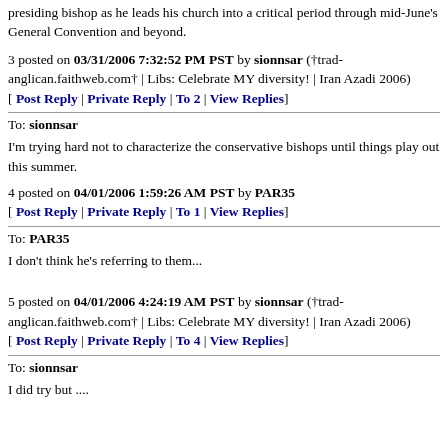presiding bishop as he leads his church into a critical period through mid-June's General Convention and beyond.
3 posted on 03/31/2006 7:32:52 PM PST by sionnsar (†trad-anglican.faithweb.com† | Libs: Celebrate MY diversity! | Iran Azadi 2006)
[ Post Reply | Private Reply | To 2 | View Replies]
To: sionnsar
I'm trying hard not to characterize the conservative bishops until things play out this summer.
4 posted on 04/01/2006 1:59:26 AM PST by PAR35
[ Post Reply | Private Reply | To 1 | View Replies]
To: PAR35
I don't think he's referring to them...
5 posted on 04/01/2006 4:24:19 AM PST by sionnsar (†trad-anglican.faithweb.com† | Libs: Celebrate MY diversity! | Iran Azadi 2006)
[ Post Reply | Private Reply | To 4 | View Replies]
To: sionnsar
I did try but ....